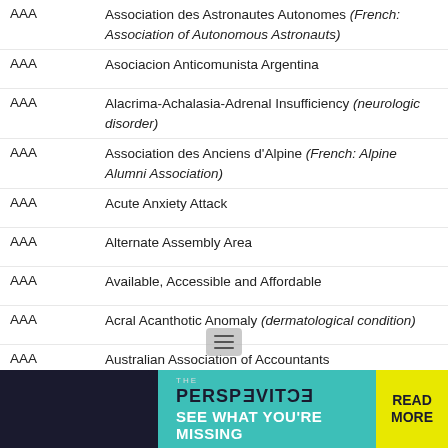AAA — Association des Astronautes Autonomes (French: Association of Autonomous Astronauts)
AAA — Asociacion Anticomunista Argentina
AAA — Alacrima-Achalasia-Adrenal Insufficiency (neurologic disorder)
AAA — Association des Anciens d'Alpine (French: Alpine Alumni Association)
AAA — Acute Anxiety Attack
AAA — Alternate Assembly Area
AAA — Available, Accessible and Affordable
AAA — Acral Acanthotic Anomaly (dermatological condition)
AAA — Australian Association of Accountants
AAA — Anti-Air Assist (gaming)
AAA — Anticipative Adaptive Array (frequency-hopping communications)
AAA — Association of Avatar Artists
AAA — American Audit Associates
AAA — Alabama Associations... (partially visible)
[Figure (screenshot): Advertisement banner at bottom: 'THE PERSPECTIVE — SEE WHAT YOU'RE MISSING — READ MORE']